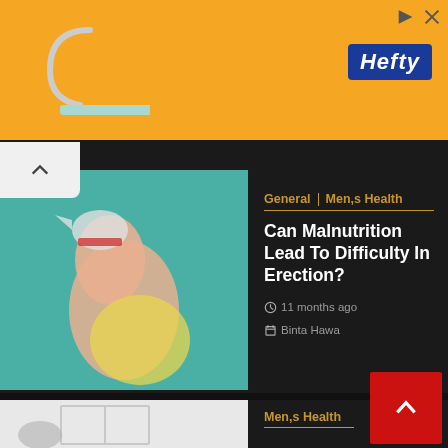[Figure (other): Hefty brand advertisement banner with orange background and Hefty logo]
[Figure (photo): Hands holding a shark puppet toy against a teal/green background]
General  Men,s Health
Can Malnutrition Lead To Difficulty In Erection?
11 months ago   Binta Hawa
[Figure (photo): Person looking in a bathroom medicine cabinet]
Men,s Health